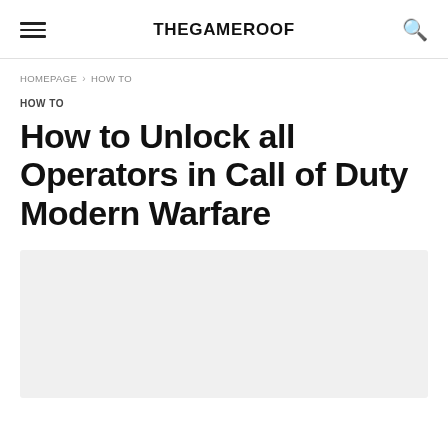THEGAMEROOF
HOMEPAGE › HOW TO
HOW TO
How to Unlock all Operators in Call of Duty Modern Warfare
[Figure (photo): Light gray placeholder image area below the article title]